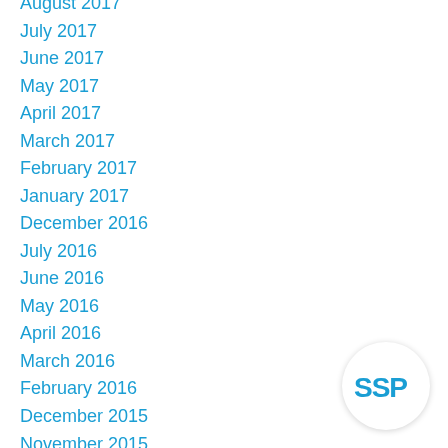August 2017
July 2017
June 2017
May 2017
April 2017
March 2017
February 2017
January 2017
December 2016
July 2016
June 2016
May 2016
April 2016
March 2016
February 2016
December 2015
November 2015
October 2015
September 2015
August 2015
[Figure (logo): SSP logo — white circle with blue SSP lettering]